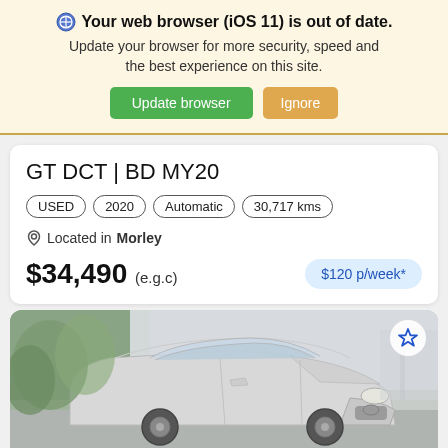🌐 Your web browser (iOS 11) is out of date. Update your browser for more security, speed and the best experience on this site. Update browser | Ignore
GT DCT | BD MY20
USED | 2020 | Automatic | 30,717 kms
Located in Morley
$34,490 (e.g.c)  $120 p/week*
[Figure (photo): Front view of a silver Mazda SUV/crossover vehicle parked outdoors with trees in the background]